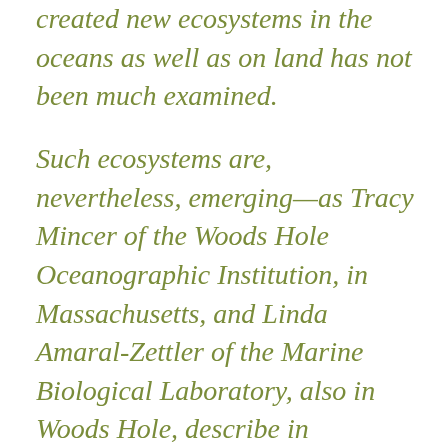created new ecosystems in the oceans as well as on land has not been much examined.
Such ecosystems are, nevertheless, emerging—as Tracy Mincer of the Woods Hole Oceanographic Institution, in Massachusetts, and Linda Amaral-Zettler of the Marine Biological Laboratory, also in Woods Hole, describe in Environmental Science and Technology. The malign effect of floating plastic debris on seabirds, turtles and other sea creatures is well known. But, as Dr Mincer and Dr Amaral-Zettler have discovered, plastic debris also provides a new habitat for organisms small enough to take advantage of